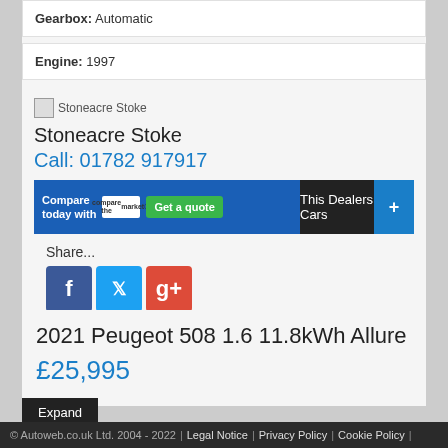Gearbox: Automatic
Engine: 1997
[Figure (logo): Stoneacre Stoke dealer logo/image placeholder]
Stoneacre Stoke
Call: 01782 917917
[Figure (other): Compare today with comparethemarket - Get a quote banner, This Dealers Cars button, plus button]
Share...
[Figure (other): Social sharing icons: Facebook, Twitter, Google+]
2021 Peugeot 508 1.6 11.8kWh Allure
£25,995
Expand
© Autoweb.co.uk Ltd. 2004 - 2022 | Legal Notice | Privacy Policy | Cookie Policy |